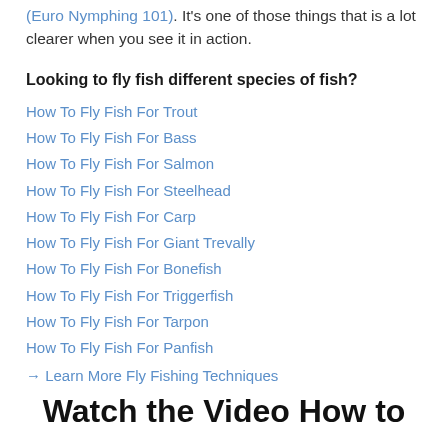(Euro Nymphing 101). It's one of those things that is a lot clearer when you see it in action.
Looking to fly fish different species of fish?
How To Fly Fish For Trout
How To Fly Fish For Bass
How To Fly Fish For Salmon
How To Fly Fish For Steelhead
How To Fly Fish For Carp
How To Fly Fish For Giant Trevally
How To Fly Fish For Bonefish
How To Fly Fish For Triggerfish
How To Fly Fish For Tarpon
How To Fly Fish For Panfish
→ Learn More Fly Fishing Techniques
Watch the Video How to